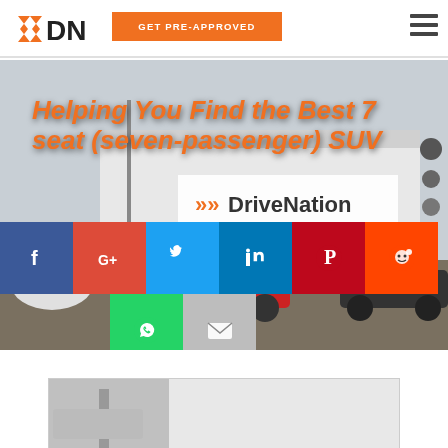[Figure (logo): DriveNation logo with orange double-chevron arrows and DN text]
GET PRE-APPROVED
[Figure (photo): Car dealership lot photo with DriveNation banner, red car and white SUV visible]
Helping You Find the Best 7 seat (seven-passenger) SUV
[Figure (infographic): Social sharing buttons: Facebook, Google+, Twitter, LinkedIn, Pinterest, Reddit, WhatsApp, Email]
[Figure (photo): Partial bottom image strip showing dealership/vehicle]